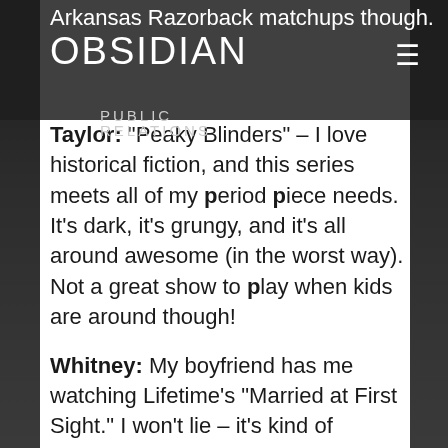OBSIDIAN PUBLIC RELATIONS
Arkansas Razorback matchups though.
Taylor: "Peaky Blinders" – I love historical fiction, and this series meets all of my period piece needs. It's dark, it's grungy, and it's all around awesome (in the worst way). Not a great show to play when kids are around though!
Whitney: My boyfriend has me watching Lifetime's "Married at First Sight." I won't lie – it's kind of addictive because you want to see how the relationships unfold when two complete strangers take a huge leap of faith for love and marry.
Personally, I'd have to recommend "Gilmore Girls." I'm watching it again – probably for the